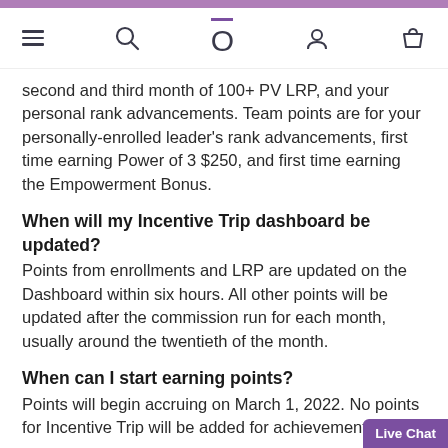Navigation bar with menu, search, logo (0), user, and cart icons
second and third month of 100+ PV LRP, and your personal rank advancements. Team points are for your personally-enrolled leader's rank advancements, first time earning Power of 3 $250, and first time earning the Empowerment Bonus.
When will my Incentive Trip dashboard be updated?
Points from enrollments and LRP are updated on the Dashboard within six hours. All other points will be updated after the commission run for each month, usually around the twentieth of the month.
When can I start earning points?
Points will begin accruing on March 1, 2022. No points for Incentive Trip will be added for achievements m…